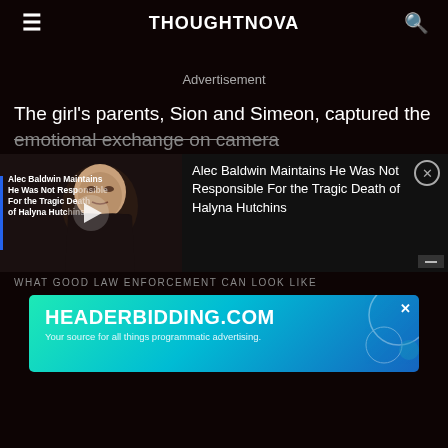THOUGHTNOVA
Advertisement
The girl's parents, Sion and Simeon, captured the emotional exchange on camera
[Figure (screenshot): Video overlay showing Alec Baldwin with text: Alec Baldwin Maintains He Was Not Responsible For the Tragic Death of Halyna Hutchins]
WHAT GOOD LAW ENFORCEMENT CAN LOOK LIKE
[Figure (screenshot): Advertisement banner for HEADERBIDDING.COM — Your source for all things programmatic advertising.]